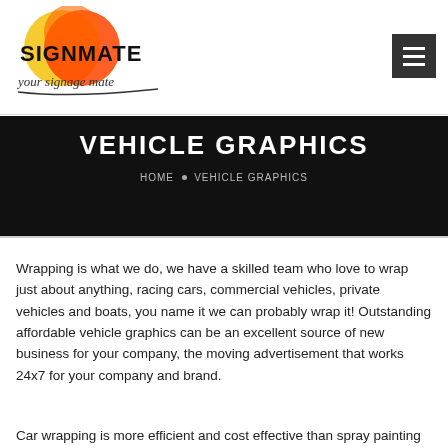[Figure (logo): Signmate logo with colorful circles and text 'SIGNMATE' and 'your signage mate' tagline]
VEHICLE GRAPHICS
HOME • VEHICLE GRAPHICS
Wrapping is what we do, we have a skilled team who love to wrap just about anything, racing cars, commercial vehicles, private vehicles and boats, you name it we can probably wrap it! Outstanding affordable vehicle graphics can be an excellent source of new business for your company, the moving advertisement that works 24x7 for your company and brand.
Car wrapping is more efficient and cost effective than spray painting